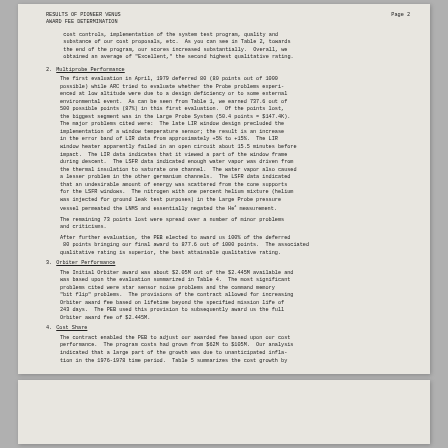RESULTS OF PIONEER VENUS AWARD FEE DETERMINATION    Page 2
cost controls, implementation of the system test program, quality and substance of our cost proposals, etc. As you can see in Table 2, towards the end of the program, our scores increased substantially. Overall, we obtained an average of "Excellent," the second highest qualitative rating.
2. Multiprobe Performance
The first evaluation in April, 1979 deferred 80 (80 points out of 1000 possible) while ARC tried to evaluate whether the Probe problems experienced at low altitude were due to a design deficiency or to some external environmental event. As can be seen from Table 1, we earned 737.6 out of 500 possible points (87%) in this first evaluation. Of the points lost, the biggest segment was in the Large Probe System (50.4 points = $147.4K). The major problems cited were: The late LIR window design precluded the implementation of a window temperature sensor; the result is an increase in the error band of LIR data from approximately +5% to +15%. The LIR window heater apparently failed in an open circuit about 15.5 minutes before impact. The LIR data indicates that it viewed a part of the window frame during descent. The LSFR data indicated enough water vapor was driven from the thermal insulation to saturate one channel. The water vapor also caused a lesser problem in the other germanium channels. The LSFR data indicated that an undesirable amount of energy was scattered from the cone supports for the LSFR windows. The nitrogen with one percent helium mixture (helium was injected for ground leak test purposes) in the Large Probe pressure vessel permeated the LNMS and essentially negated the He measurement.
The remaining 73 points lost were spread over a number of minor problems and criticisms.
After further evaluation, the PEB elected to award us 100% of the deferred 80 points bringing our final award to 877.6 out of 1000 points. The associated qualitative rating is superior, the best attainable qualitative rating.
3. Orbiter Performance
The Initial Orbiter award was about $2.05M out of the $2.445M available and was based upon the evaluation summarized in Table 4. The most significant problems cited were star sensor noise problems and the command memory "bit flip" problems. The provisions of the contract allowed for increasing Orbiter award fee based on lifetime beyond the specified mission life of 243 days. The PEB used this provision to subsequently award us the full Orbiter award fee of $2.445M.
4. Cost Share
The contract enabled the PEB to adjust our awarded fee based upon our cost performance. The program costs had grown from $62M to $105M. Our analysis indicated that a large part of the growth was due to unanticipated inflation in the 1976-1978 time period. Table 5 summarizes the cost growth by